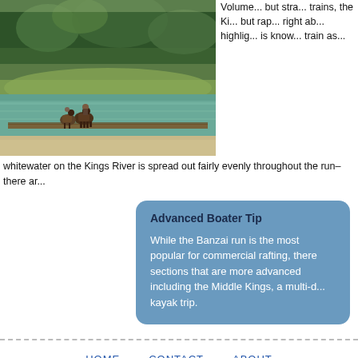[Figure (photo): River scene with horses and riders on a log boom crossing a green river, surrounded by trees and forested banks.]
Volume... but str... trains, the Ki... but rap... right ab... highlig... is know... train as... whitewater on the Kings River is spread out fairly evenly throughout the run–there ar...
Advanced Boater Tip
While the Banzai run is the most popular for commercial rafting, there sections that are more advanced including the Middle Kings, a multi-d... kayak trip.
HOME   CONTACT   ABOUT
AMERICAN RIVER R...
Conditions on rivers can and do change quickly. Common sense and proper safety precautions are r... to check flows & conditions and be realistic abou...
© Copyr...